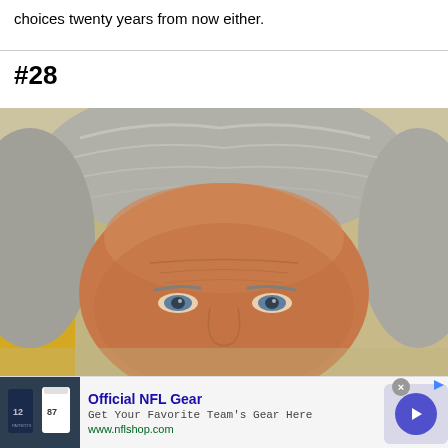choices twenty years from now either.
#28
[Figure (photo): Close-up photograph of an older man with silver/grey hair, tanned skin, visible wrinkles, light-colored eyes, with a room background including a door frame and a lamp visible.]
[Figure (screenshot): Advertisement banner for Official NFL Gear. Shows two football jerseys (one white, one dark navy), text 'Official NFL Gear', 'Get Your Favorite Team's Gear Here', 'www.nflshop.com', with a blue arrow button and close button.]